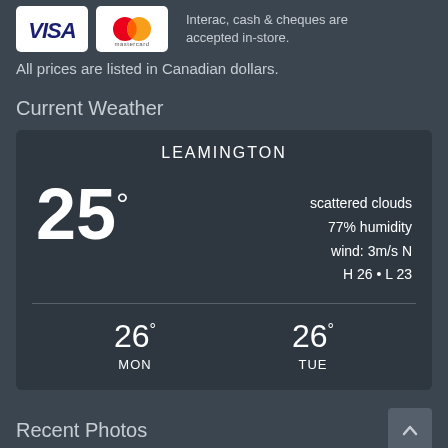[Figure (logo): Visa and Mastercard payment logos side by side on white backgrounds]
Interac, cash & cheques are accepted in-store.
All prices are listed in Canadian dollars.
Current Weather
[Figure (infographic): Weather widget for Leamington showing 25 degrees, scattered clouds, 77% humidity, wind: 3m/s N, H 26 L 23, with forecast MON 26 degrees and TUE 26 degrees]
Recent Photos